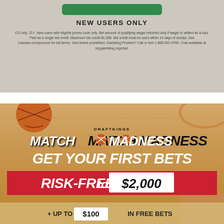[Figure (advertisement): Caesars sportsbook promotion — NEW USERS ONLY section with fine print on gray textured background]
NEW USERS ONLY
CO only. 21+. New users with eligible promo code only. Bet amount of qualifying wager returned only if wager is settled as a loss. Paid as a single bet credit. Maximum bet credit $1,500. Bet credit must be used within 14 days of receipt. See Caesars.com/promos for full terms. Void where prohibited. Gambling Problem? Call or text 1-800-522-4700. Chat available at ncpgambling.org/chat.
[Figure (advertisement): DraftKings Match Madness promotion on wood-textured basketball court background. Text reads: GET YOUR FIRST BETS RISK-FREE up to $2,000 and partial bottom text showing $100]